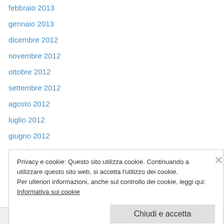febbraio 2013
gennaio 2013
dicembre 2012
novembre 2012
ottobre 2012
settembre 2012
agosto 2012
luglio 2012
giugno 2012
Maggio 2012
aprile 2012
marzo 2012
febbraio 2012
Privacy e cookie: Questo sito utilizza cookie. Continuando a utilizzare questo sito web, si accetta l’utilizzo dei cookie.
Per ulteriori informazioni, anche sul controllo dei cookie, leggi qui:
Informativa sui cookie
Chiudi e accetta
Segui